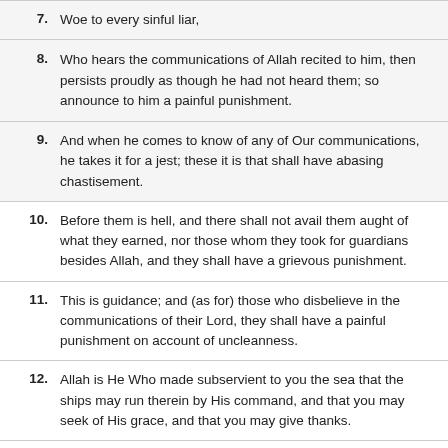7. Woe to every sinful liar,
8. Who hears the communications of Allah recited to him, then persists proudly as though he had not heard them; so announce to him a painful punishment.
9. And when he comes to know of any of Our communications, he takes it for a jest; these it is that shall have abasing chastisement.
10. Before them is hell, and there shall not avail them aught of what they earned, nor those whom they took for guardians besides Allah, and they shall have a grievous punishment.
11. This is guidance; and (as for) those who disbelieve in the communications of their Lord, they shall have a painful punishment on account of uncleanness.
12. Allah is He Who made subservient to you the sea that the ships may run therein by His command, and that you may seek of His grace, and that you may give thanks.
13. And He has made subservient to you whatsoever is in the